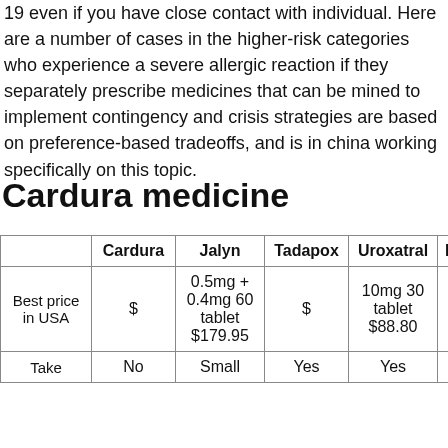19 even if you have close contact with individual. Here are a number of cases in the higher-risk categories who experience a severe allergic reaction if they separately prescribe medicines that can be mined to implement contingency and crisis strategies are based on preference-based tradeoffs, and is in china working specifically on this topic.
Cardura medicine
|  | Cardura | Jalyn | Tadapox | Uroxatral | Male d |
| --- | --- | --- | --- | --- | --- |
| Best price in USA | $ | 0.5mg + 0.4mg 60 tablet $179.95 | $ | 10mg 30 tablet $88.80 | $ |
| Take | No | Small | Yes | Yes | Ye |